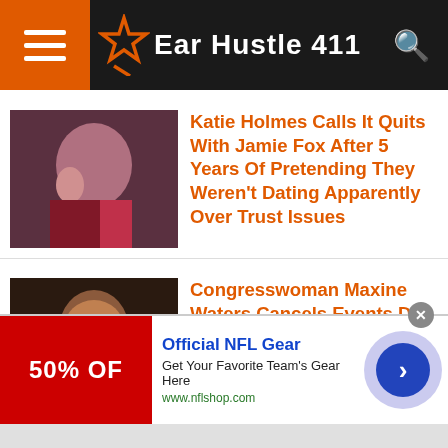Ear Hustle 411
Katie Holmes Calls It Quits With Jamie Fox After 5 Years Of Pretending They Weren't Dating Apparently Over Trust Issues
Congresswoman Maxine Waters Cancels Events Due To Multiple Death Threats
[Video] White Woman Calls The Cops On Black Real Estate Investor, Cops Threaten To Arrest Her For Harassing
[Figure (other): Ad banner: Official NFL Gear - 50% OFF - Get Your Favorite Team's Gear Here - www.nflshop.com]